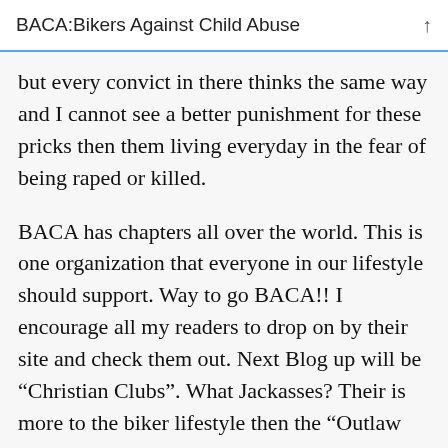BACA:Bikers Against Child Abuse
but every convict in there thinks the same way and I cannot see a better punishment for these pricks then them living everyday in the fear of being raped or killed.
BACA has chapters all over the world. This is one organization that everyone in our lifestyle should support. Way to go BACA!! I encourage all my readers to drop on by their site and check them out. Next Blog up will be “Christian Clubs”. What Jackasses? Their is more to the biker lifestyle then the “Outlaw Image” Geeze Fucktards!!